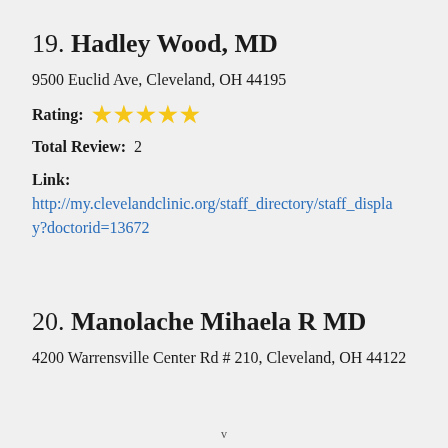19. Hadley Wood, MD
9500 Euclid Ave, Cleveland, OH 44195
Rating: ★★★★★
Total Review:  2
Link:  http://my.clevelandclinic.org/staff_directory/staff_display?doctorid=13672
20. Manolache Mihaela R MD
4200 Warrensville Center Rd # 210, Cleveland, OH 44122